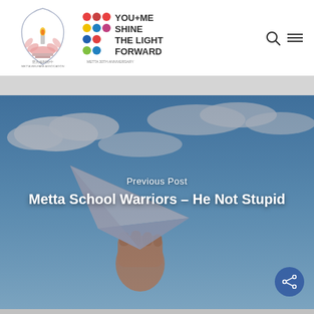[Figure (logo): Metta Welfare Association logo with lotus flower and candle icon, Chinese characters, and METTA WELFARE ASSOCIATION text below]
[Figure (logo): Metta 30th Anniversary YOU+ME SHINE THE LIGHT FORWARD logo with colorful dots]
[Figure (illustration): Hero image showing a hand holding a paper airplane against a blue sky with clouds, with dark overlay]
Previous Post
Metta School Warriors – He Not Stupid